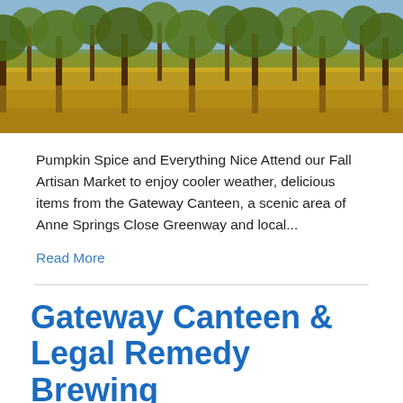[Figure (photo): Autumn orchard scene with rows of trees, golden/yellow-green grass ground cover, warm fall colors]
Pumpkin Spice and Everything Nice Attend our Fall Artisan Market to enjoy cooler weather, delicious items from the Gateway Canteen, a scenic area of Anne Springs Close Greenway and local...
Read More
Gateway Canteen & Legal Remedy Brewing